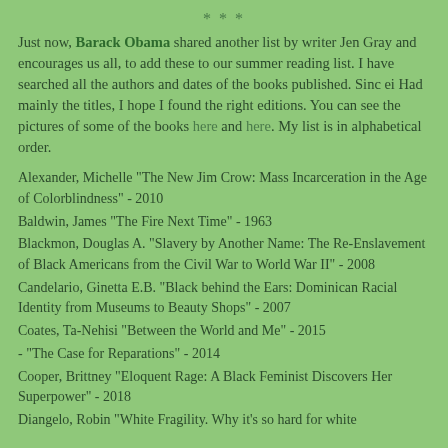* * *
Just now, Barack Obama shared another list by writer Jen Gray and encourages us all, to add these to our summer reading list. I have searched all the authors and dates of the books published. Sinc ei Had mainly the titles, I hope I found the right editions. You can see the pictures of some of the books here and here. My list is in alphabetical order.
Alexander, Michelle "The New Jim Crow: Mass Incarceration in the Age of Colorblindness" - 2010
Baldwin, James "The Fire Next Time" - 1963
Blackmon, Douglas A. "Slavery by Another Name: The Re-Enslavement of Black Americans from the Civil War to World War II" - 2008
Candelario, Ginetta E.B. "Black behind the Ears: Dominican Racial Identity from Museums to Beauty Shops" - 2007
Coates, Ta-Nehisi "Between the World and Me" - 2015
- "The Case for Reparations" - 2014
Cooper, Brittney "Eloquent Rage: A Black Feminist Discovers Her Superpower" - 2018
Diangelo, Robin "White Fragility. Why it's so hard for white